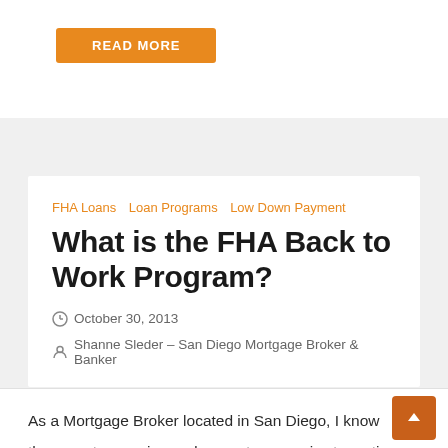[Figure (other): Orange READ MORE button at top of card]
FHA Loans   Loan Programs   Low Down Payment
What is the FHA Back to Work Program?
October 30, 2013
Shanne Sleder – San Diego Mortgage Broker & Banker
As a Mortgage Broker located in San Diego, I know the recent recession and current economic stagnation